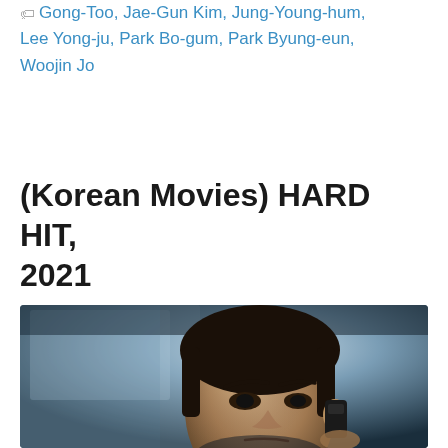Gong-Too, Jae-Gun Kim, Jung-Young-hum, Lee Yong-ju, Park Bo-gum, Park Byung-eun, Woojin Jo
(Korean Movies) HARD HIT, 2021
April 18, 2022 by K Drama Movie
[Figure (photo): A man in a car talking on a phone, close-up face shot with blue-grey tones, appears to be a movie still from Hard Hit (2021)]